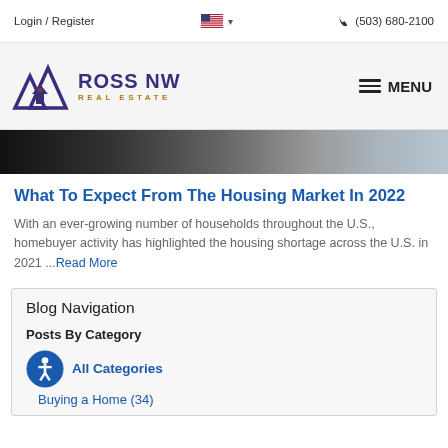Login / Register  🇺🇸 ▾   📞 (503) 680-2100
[Figure (logo): Ross NW Real Estate logo with house/mountain icon in blue and purple, company name in dark purple and gold]
≡ MENU
[Figure (photo): Partial hero image showing building facades, dark grayscale tones]
What To Expect From The Housing Market In 2022
With an ever-growing number of households throughout the U.S., homebuyer activity has highlighted the housing shortage across the U.S. in 2021 ...Read More
Blog Navigation
Posts By Category
All Categories
Buying a Home  (34)